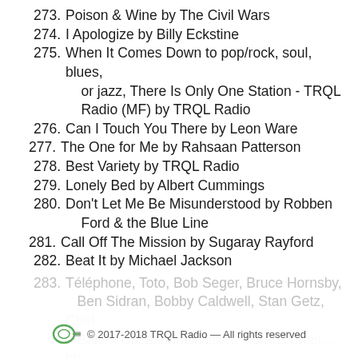273. Poison & Wine by The Civil Wars
274. I Apologize by Billy Eckstine
275. When It Comes Down to pop/rock, soul, blues, or jazz, There Is Only One Station - TRQL Radio (MF) by TRQL Radio
276. Can I Touch You There by Leon Ware
277. The One for Me by Rahsaan Patterson
278. Best Variety by TRQL Radio
279. Lonely Bed by Albert Cummings
280. Don't Let Me Be Misunderstood by Robben Ford & the Blue Line
281. Call Off The Mission by Sugaray Rayford
282. Beat It by Michael Jackson
283. Téléphone, Toto, Bob Seger, Bruce Hornsby, Ben Sidran, Bobby Caldwell, Stan Getz, Chet Baker, Cassandra Wilson, Norah Jones,... by
© 2017-2018 TRQL Radio — All rights reserved